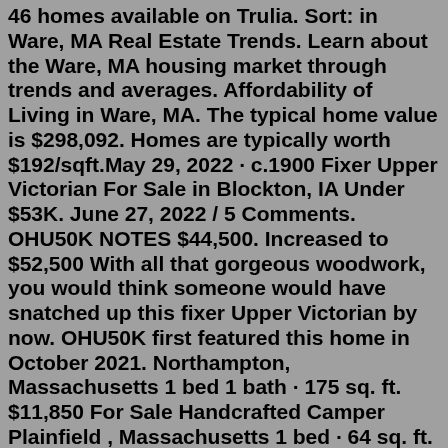46 homes available on Trulia. Sort: in Ware, MA Real Estate Trends. Learn about the Ware, MA housing market through trends and averages. Affordability of Living in Ware, MA. The typical home value is $298,092. Homes are typically worth $192/sqft.May 29, 2022 · c.1900 Fixer Upper Victorian For Sale in Blockton, IA Under $53K. June 27, 2022 / 5 Comments. OHU50K NOTES $44,500. Increased to $52,500 With all that gorgeous woodwork, you would think someone would have snatched up this fixer Upper Victorian by now. OHU50K first featured this home in October 2021. Northampton, Massachusetts 1 bed 1 bath · 175 sq. ft. $11,850 For Sale Handcrafted Camper Plainfield , Massachusetts 1 bed · 64 sq. ft. $22,000 For Sale Converted Bus The Blue Goose Schoolie Somerville, Massachusetts 1 bed 1 bath · 236 sq. ft. $60,000 For Sale Tiny House River House Charlemont, Massachusetts 1 bath · 187 sq. ft.View 98 homes for sale in Fitchburg, MA at a median listing home price of $350,000. See pricing and listing details of Fitchburg real estate for sale. RVs For Sale in